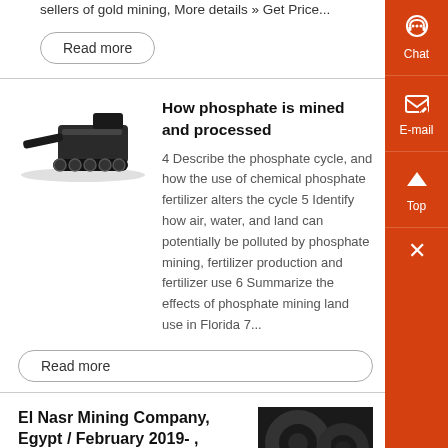sellers of gold mining, More details » Get Price...
Read more
[Figure (photo): Mining vehicle/crusher machine]
How phosphate is mined and processed
4 Describe the phosphate cycle, and how the use of chemical phosphate fertilizer alters the cycle 5 Identify how air, water, and land can potentially be polluted by phosphate mining, fertilizer production and fertilizer use 6 Summarize the effects of phosphate mining land use in Florida 7...
Read more
El Nasr Mining Company, Egypt / February 2019- ,
The mine company was established around
[Figure (photo): Industrial/mining facility photo]